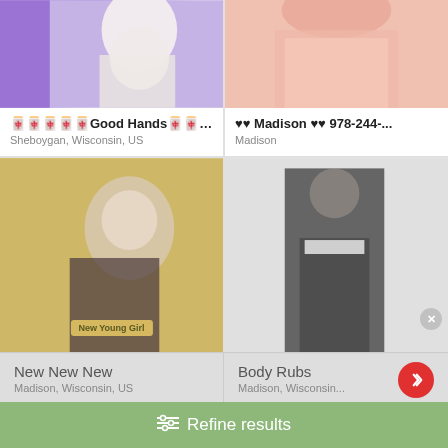[Figure (photo): Top-left listing card image showing person in white top with purple background]
🀄🀄🀄🀄🀄Good Hands🀄🀄🀄🀄920-81...
Sheboygan, Wisconsin, US
[Figure (photo): Top-right listing card image showing person in pink outfit]
♥♥ Madison ♥♥ 978-244-...
Madison
[Figure (photo): Bottom-left listing card image showing smiling person in black jacket with New Young Girl badge]
[Figure (photo): Bottom-right listing card image showing person in black blazer and white top]
New New New
Madison, Wisconsin, US
Body Rubs
Madison, Wisconsin...
⚙ Refine results